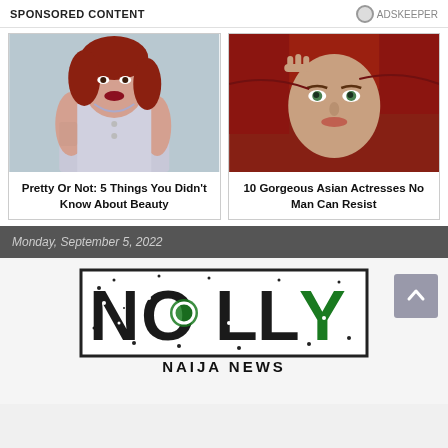SPONSORED CONTENT
[Figure (photo): Woman with red hair in grey top - beauty article thumbnail]
Pretty Or Not: 5 Things You Didn't Know About Beauty
[Figure (photo): Woman with green eyes wearing red headscarf - Asian actresses article thumbnail]
10 Gorgeous Asian Actresses No Man Can Resist
Monday, September 5, 2022
[Figure (logo): Nolly Naija News logo - large grunge-style text NOLLY with NAIJA NEWS below]